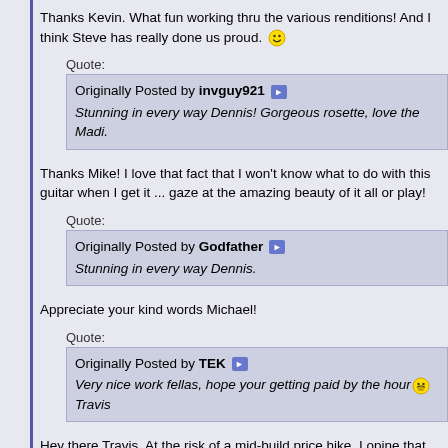Thanks Kevin. What fun working thru the various renditions! And I think Steve has really done us proud. 🙂
Quote: Originally Posted by invguy921 ▶ Stunning in every way Dennis! Gorgeous rosette, love the Madi.
Thanks Mike! I love that fact that I won't know what to do with this guitar when I get it ... gaze at the amazing beauty of it all or play!
Quote: Originally Posted by Godfather ▶ Stunning in every way Dennis.
Appreciate your kind words Michael!
Quote: Originally Posted by TEK ▶ Very nice work fellas, hope your getting paid by the hour 😅 Travis
Hey there Travis. At the risk of a mid-build price hike, I opine that Kinnair guitars are an incredible value. The build is tight and the tone is off the charts. As has been said before, the product is one of the best on the